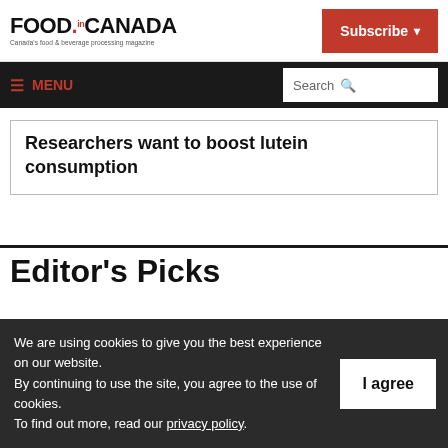FOOD.IN.CANADA — Canada's food & beverage processing magazine
Researchers want to boost lutein consumption
Editor's Picks
We are using cookies to give you the best experience on our website. By continuing to use the site, you agree to the use of cookies. To find out more, read our privacy policy.